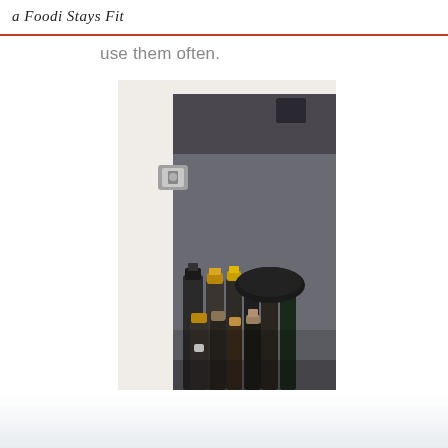a Foodi Stays Fit
use them often.
[Figure (photo): An open white kitchen cabinet door with a metal hinge visible, revealing a dark interior shelf packed with numerous small liquor/spirit bottles with gold, black and cork caps/stoppers. A dark round pan or lid is partially visible behind the bottles.]